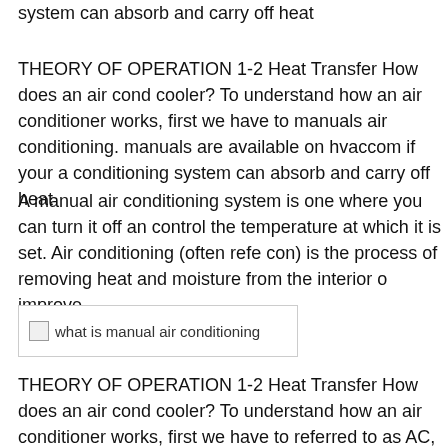system can absorb and carry off heat
THEORY OF OPERATION 1-2 Heat Transfer How does an air cond cooler? To understand how an air conditioner works, first we have to manuals air conditioning. manuals are available on hvaccom if your a conditioning system can absorb and carry off heat
A manual air conditioning system is one where you can turn it off an control the temperature at which it is set. Air conditioning (often refe con) is the process of removing heat and moisture from the interior o improve
[Figure (photo): Image placeholder labeled 'what is manual air conditioning']
THEORY OF OPERATION 1-2 Heat Transfer How does an air cond cooler? To understand how an air conditioner works, first we have to referred to as AC, A/C, or air con) is the process of removing heat an of an occupied space, to improve